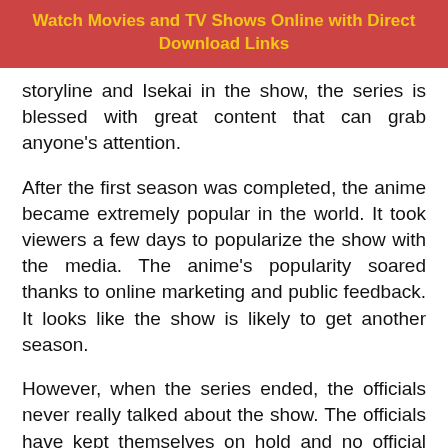Watch Movies and TV Shows Online with Direct Download Links
storyline and Isekai in the show, the series is blessed with great content that can grab anyone's attention.
After the first season was completed, the anime became extremely popular in the world. It took viewers a few days to popularize the show with the media. The anime's popularity soared thanks to online marketing and public feedback. It looks like the show is likely to get another season.
However, when the series ended, the officials never really talked about the show. The officials have kept themselves on hold and no official announcement has been made by them.
On the other hand, viewers demanded the release of another season. Madhouse seems to ignore the requests...